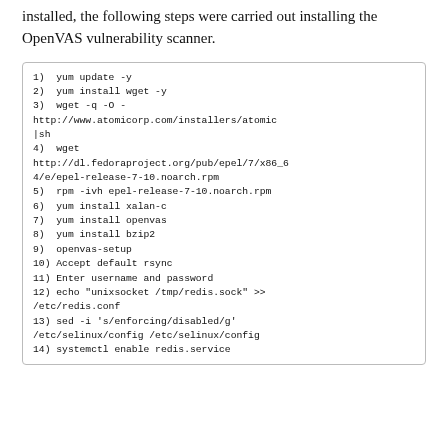installed, the following steps were carried out installing the OpenVAS vulnerability scanner.
1) yum update -y
2) yum install wget -y
3) wget -q -O -
http://www.atomicorp.com/installers/atomic
|sh
4) wget
http://dl.fedoraproject.org/pub/epel/7/x86_64/e/epel-release-7-10.noarch.rpm
5) rpm -ivh epel-release-7-10.noarch.rpm
6) yum install xalan-c
7) yum install openvas
8) yum install bzip2
9) openvas-setup
10) Accept default rsync
11) Enter username and password
12) echo "unixsocket /tmp/redis.sock" >> /etc/redis.conf
13) sed -i 's/enforcing/disabled/g' /etc/selinux/config /etc/selinux/config
14) systemctl enable redis.service